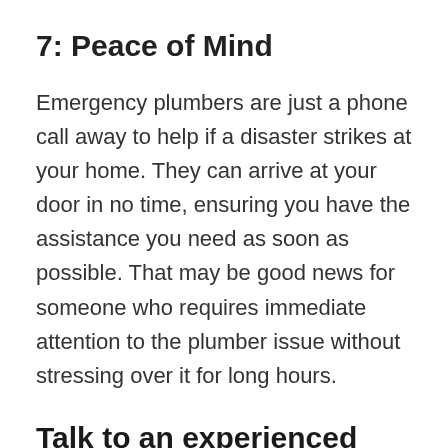7: Peace of Mind
Emergency plumbers are just a phone call away to help if a disaster strikes at your home. They can arrive at your door in no time, ensuring you have the assistance you need as soon as possible. That may be good news for someone who requires immediate attention to the plumber issue without stressing over it for long hours.
Talk to an experienced Emergency Plumber Today!
The...